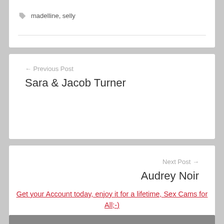madelline, selly
← Previous Post
Sara & Jacob Turner
Next Post →
Audrey Noir
Get your Account today, enjoy it for a lifetime, Sex Cams for All;-)
[Figure (photo): Partial photo strip at bottom of page]